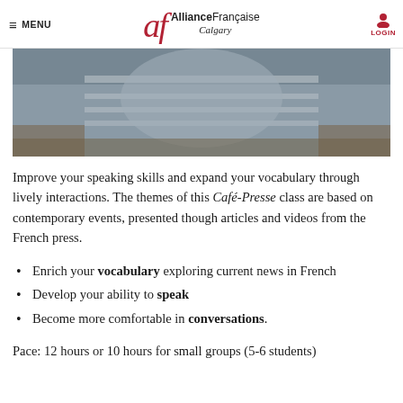≡ MENU | Alliance Française Calgary | LOGIN
[Figure (photo): Photo of a person in a striped shirt, shown from behind, appearing to read or hold something]
Improve your speaking skills and expand your vocabulary through lively interactions. The themes of this Café-Presse class are based on contemporary events, presented though articles and videos from the French press.
Enrich your vocabulary exploring current news in French
Develop your ability to speak
Become more comfortable in conversations.
Pace: 12 hours or 10 hours for small groups (5-6 students)